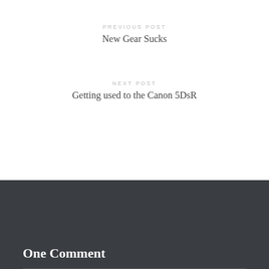PREVIOUS POST
New Gear Sucks
NEXT POST
Getting used to the Canon 5DsR
One Comment